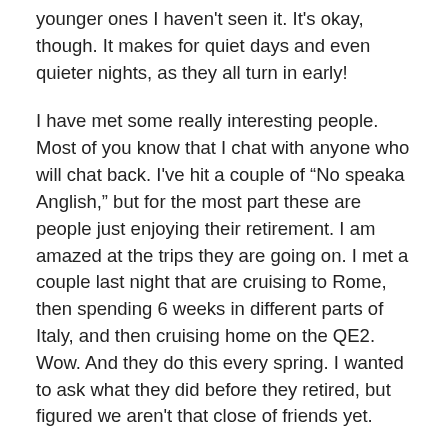younger ones I haven't seen it. It's okay, though. It makes for quiet days and even quieter nights, as they all turn in early!
I have met some really interesting people. Most of you know that I chat with anyone who will chat back. I've hit a couple of “No speaka Anglish,” but for the most part these are people just enjoying their retirement. I am amazed at the trips they are going on. I met a couple last night that are cruising to Rome, then spending 6 weeks in different parts of Italy, and then cruising home on the QE2. Wow. And they do this every spring. I wanted to ask what they did before they retired, but figured we aren't that close of friends yet.
But that brings me to today’s story. On Thursday while we were waiting to get into our cabins, I met a couple from